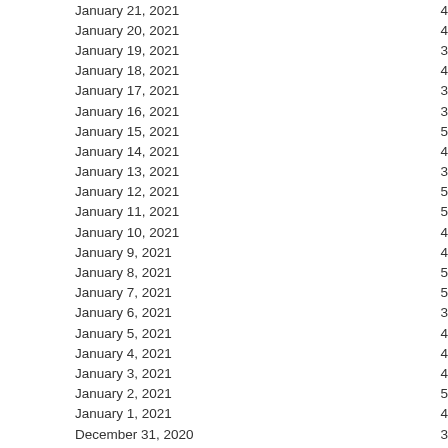| Date | Value |
| --- | --- |
| January 21, 2021 | 4 |
| January 20, 2021 | 4 |
| January 19, 2021 | 3 |
| January 18, 2021 | 4 |
| January 17, 2021 | 3 |
| January 16, 2021 | 3 |
| January 15, 2021 | 5 |
| January 14, 2021 | 4 |
| January 13, 2021 | 3 |
| January 12, 2021 | 5 |
| January 11, 2021 | 5 |
| January 10, 2021 | 4 |
| January 9, 2021 | 4 |
| January 8, 2021 | 5 |
| January 7, 2021 | 5 |
| January 6, 2021 | 3 |
| January 5, 2021 | 4 |
| January 4, 2021 | 4 |
| January 3, 2021 | 4 |
| January 2, 2021 | 5 |
| January 1, 2021 | 4 |
| December 31, 2020 | 3 |
| December 30, 2020 | 5 |
| December 29, 2020 | 4 |